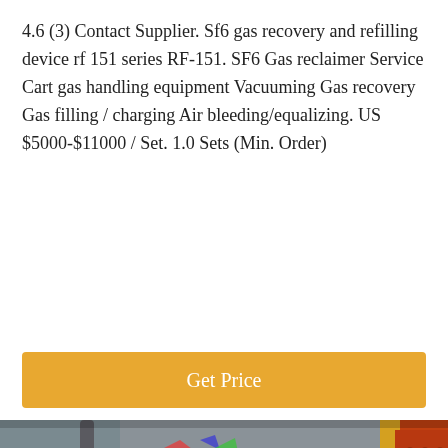4.6 (3) Contact Supplier. Sf6 gas recovery and refilling device rf 151 series RF-151. SF6 Gas reclaimer Service Cart gas handling equipment Vacuuming Gas recovery Gas filling / charging Air bleeding/equalizing. US $5000-$11000 / Set. 1.0 Sets (Min. Order)
[Figure (other): Orange button labeled 'Get Price']
[Figure (photo): Two workers in blue hard hats and blue work suits standing near industrial gas handling equipment with monitors and machinery in a factory setting]
[Figure (other): Bottom navigation bar with 'Leave Message' on left, customer service avatar in center, 'Chat Online' on right]